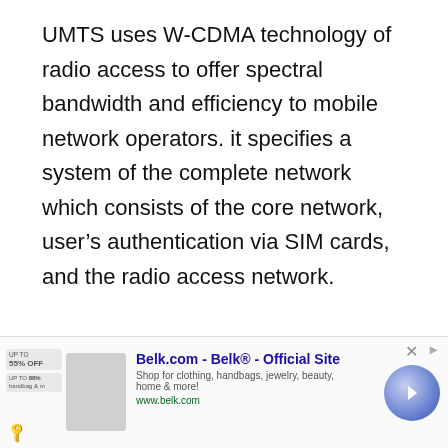UMTS uses W-CDMA technology of radio access to offer spectral bandwidth and efficiency to mobile network operators. it specifies a system of the complete network which consists of the core network, user's authentication via SIM cards, and the radio access network.
The technology mentioned in UMT...
[Figure (other): Screenshot of a webpage showing text about UMTS and W-CDMA technology with UI elements: heart/like button, share button, play button, a 'What's Next' panel, and a Belk.com advertisement banner at the bottom.]